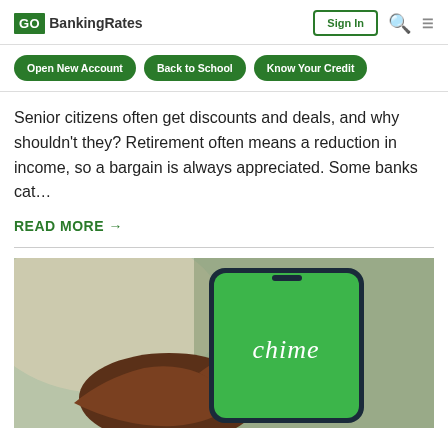GOBankingRates | Sign In
Open New Account  Back to School  Know Your Credit
Senior citizens often get discounts and deals, and why shouldn't they? Retirement often means a reduction in income, so a bargain is always appreciated. Some banks cat…
READ MORE →
[Figure (photo): Hand holding a smartphone displaying the Chime app logo on a green screen]